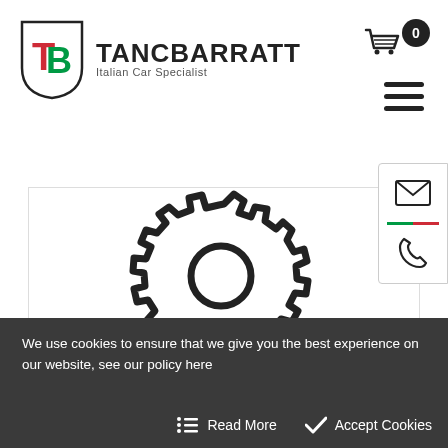[Figure (logo): TancBarratt Italian Car Specialist logo with shield emblem containing stylized T and B letters in red and green]
TANCBARRATT Italian Car Specialist
[Figure (illustration): Large gear/cog badge icon with a ribbon at the bottom — a quality or award badge symbol]
[Figure (other): Side contact buttons: email envelope icon and phone icon, separated by Italian flag stripe (green and red)]
We use cookies to ensure that we give you the best experience on our website, see our policy here
Read More   Accept Cookies